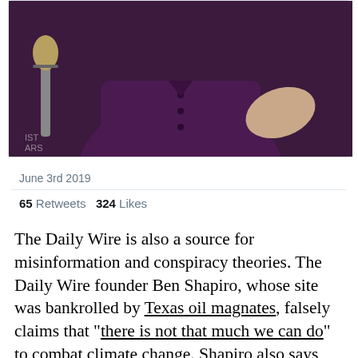[Figure (screenshot): Screenshot of a tweet card showing a person in a dark purple/maroon shirt at a microphone, with a blue Twitter verified badge circle overlapping their face. The image has a dark reddish-purple background.]
June 3rd 2019
65 Retweets  324 Likes
The Daily Wire is also a source for misinformation and conspiracy theories. The Daily Wire founder Ben Shapiro, whose site was bankrolled by Texas oil magnates, falsely claims that "there is not that much we can do" to combat climate change. Shapiro also says that the "radical left" is plotting to prevent you from giving money to The Daily